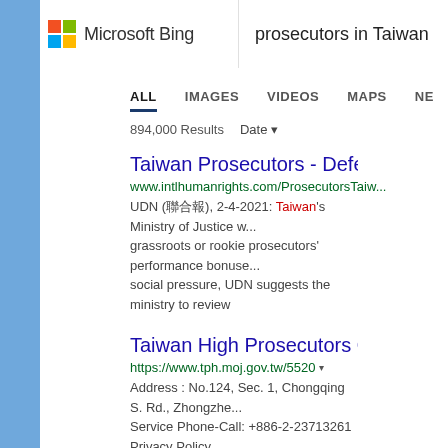[Figure (screenshot): Microsoft Bing logo with colorful grid icon and name]
prosecutors in Taiwan
ALL   IMAGES   VIDEOS   MAPS   NE...
894,000 Results   Date
Taiwan Prosecutors - Defending Hu...
www.intlhumanrights.com/ProsecutorsTaiw...
UDN (聯合報), 2-4-2021: Taiwan's Ministry of Justice w... grassroots or rookie prosecutors' performance bonuse... social pressure, UDN suggests the ministry to review
Taiwan High Prosecutors Office - 臺...
https://www.tph.moj.gov.tw/5520
Address : No.124, Sec. 1, Chongqing S. Rd., Zhongzhe... Service Phone-Call: +886-2-23713261 Privacy Policy
Prosecutors In Taiwan
[Figure (map): Map showing region including Hunan, Jiangxi, Changsha area in China near Taiwan]